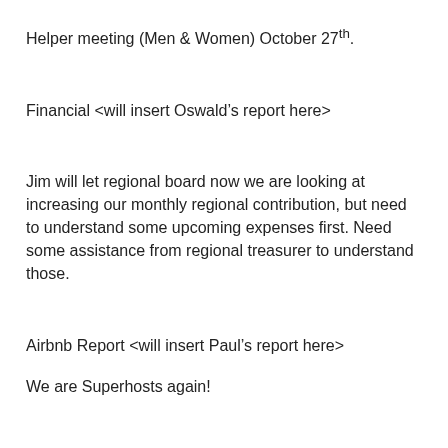Helper meeting (Men & Women) October 27th.
Financial <will insert Oswald’s report here>
Jim will let regional board now we are looking at increasing our monthly regional contribution, but need to understand some upcoming expenses first. Need some assistance from regional treasurer to understand those.
Airbnb Report <will insert Paul’s report here>
We are Superhosts again!